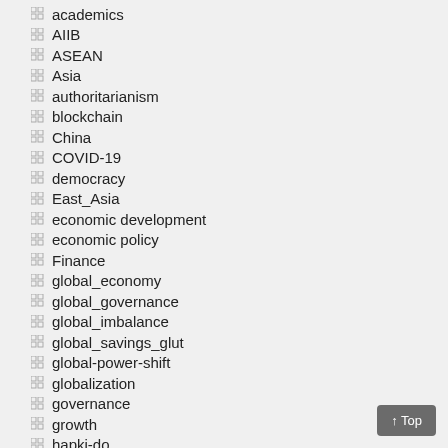academics
AIIB
ASEAN
Asia
authoritarianism
blockchain
China
COVID-19
democracy
East_Asia
economic development
economic policy
Finance
global_economy
global_governance
global_imbalance
global_savings_glut
global-power-shift
globalization
governance
growth
hapki-do
hawker food